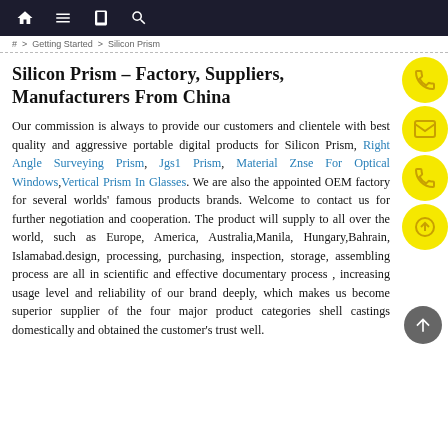Navigation bar with home, menu, book, and search icons
Getting Started > Silicon Prism
Silicon Prism – Factory, Suppliers, Manufacturers From China
Our commission is always to provide our customers and clientele with best quality and aggressive portable digital products for Silicon Prism, Right Angle Surveying Prism, Jgs1 Prism, Material Znse For Optical Windows,Vertical Prism In Glasses. We are also the appointed OEM factory for several worlds' famous products brands. Welcome to contact us for further negotiation and cooperation. The product will supply to all over the world, such as Europe, America, Australia,Manila, Hungary,Bahrain, Islamabad.design, processing, purchasing, inspection, storage, assembling process are all in scientific and effective documentary process , increasing usage level and reliability of our brand deeply, which makes us become superior supplier of the four major product categories shell castings domestically and obtained the customer's trust well.